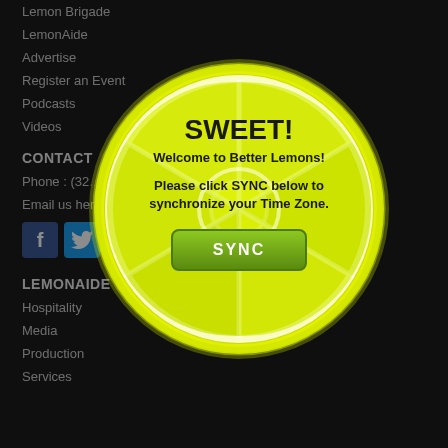Lemon Brigade
LemonAide
Advertise
Register an Event
Podcasts
Videos
CONTACT
Phone : (32...
Email us here
[Figure (infographic): Social media icons: Facebook, Twitter, YouTube]
LEMONAIDE
Hospitality
Media
Production
Services
[Figure (infographic): Modal popup over lemon slice graphic with text: SWEET! Welcome to Better Lemons! Please click SYNC below to synchronize your Time Zone. SYNC button.]